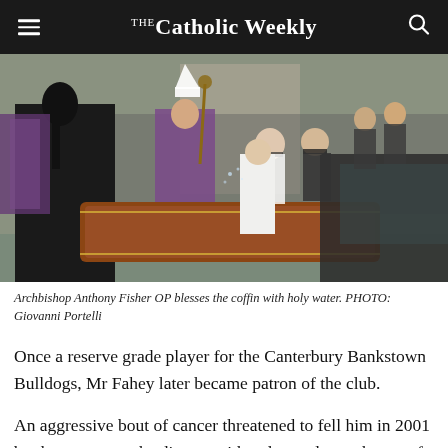The Catholic Weekly
[Figure (photo): Archbishop Anthony Fisher OP blesses a wooden coffin with holy water using a liturgical aspergillum. A woman in a black suit stands in the foreground with her back to the camera. A bishop in purple vestments and mitre, priests, and men in dark suits with face masks surround a coffin being placed into a hearse. A stone church facade and crowds of people are visible in the background.]
Archbishop Anthony Fisher OP blesses the coffin with holy water. PHOTO: Giovanni Portelli
Once a reserve grade player for the Canterbury Bankstown Bulldogs, Mr Fahey later became patron of the club.
An aggressive bout of cancer threatened to fell him in 2001 but he overcame the disease with only one lung, shorter of